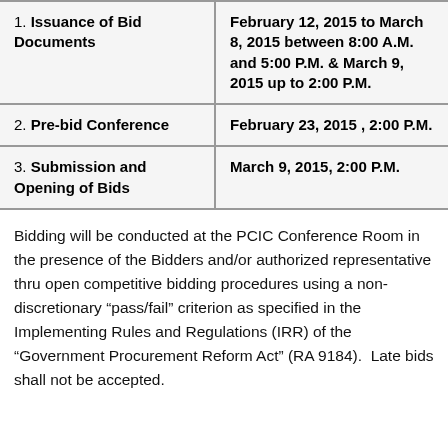| Activity | Schedule |
| --- | --- |
| 1. Issuance of Bid Documents | February 12, 2015 to March 8, 2015 between 8:00 A.M. and 5:00 P.M. & March 9, 2015 up to 2:00 P.M. |
| 2. Pre-bid Conference | February 23, 2015 , 2:00 P.M. |
| 3. Submission and Opening of Bids | March 9, 2015, 2:00 P.M. |
Bidding will be conducted at the PCIC Conference Room in the presence of the Bidders and/or authorized representative thru open competitive bidding procedures using a non-discretionary “pass/fail” criterion as specified in the Implementing Rules and Regulations (IRR) of the “Government Procurement Reform Act” (RA 9184).  Late bids shall not be accepted.